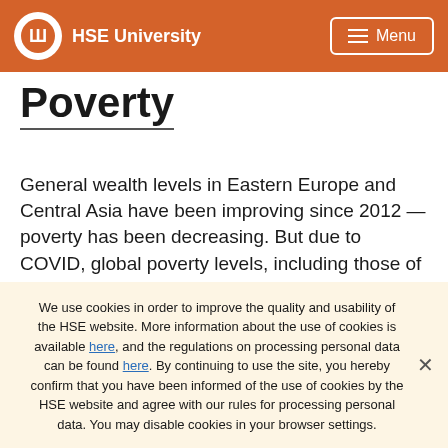HSE University | Menu
Poverty
General wealth levels in Eastern Europe and Central Asia have been improving since 2012 — poverty has been decreasing. But due to COVID, global poverty levels, including those of these regions, may increase considerably for the first time in two decades. Samuel Freije-Rodriguez, Lead Economist at World Bank, talked about this at the XXII April Conference organized by HSE
We use cookies in order to improve the quality and usability of the HSE website. More information about the use of cookies is available here, and the regulations on processing personal data can be found here. By continuing to use the site, you hereby confirm that you have been informed of the use of cookies by the HSE website and agree with our rules for processing personal data. You may disable cookies in your browser settings.